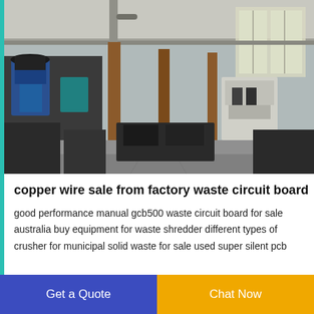[Figure (photo): Interior of an industrial factory/workshop showing heavy machinery, equipment rows, wooden support columns, pipes overhead, and large windows in the background letting in natural light. Various industrial machines including what appears to be shredding/processing equipment.]
copper wire sale from factory waste circuit board
good performance manual gcb500 waste circuit board for sale australia buy equipment for waste shredder different types of crusher for municipal solid waste for sale used super silent pcb